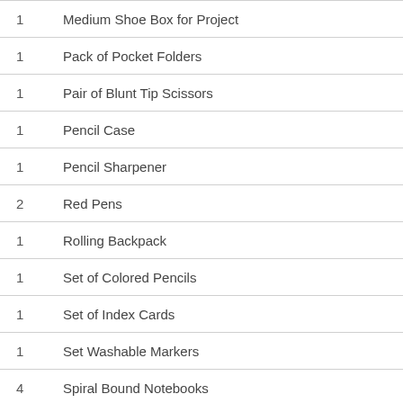1  Medium Shoe Box for Project
1  Pack of Pocket Folders
1  Pair of Blunt Tip Scissors
1  Pencil Case
1  Pencil Sharpener
2  Red Pens
1  Rolling Backpack
1  Set of Colored Pencils
1  Set of Index Cards
1  Set Washable Markers
4  Spiral Bound Notebooks